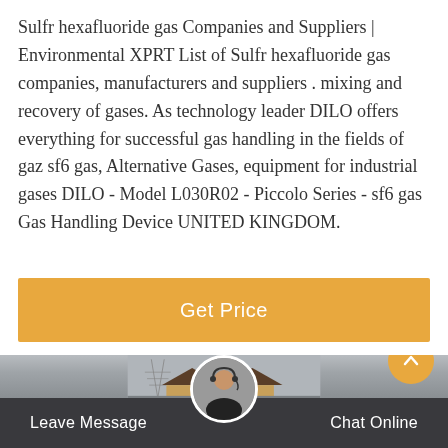Sulfr hexafluoride gas Companies and Suppliers | Environmental XPRT List of Sulfr hexafluoride gas companies, manufacturers and suppliers . mixing and recovery of gases. As technology leader DILO offers everything for successful gas handling in the fields of gaz sf6 gas, Alternative Gases, equipment for industrial gases DILO - Model L030R02 - Piccolo Series - sf6 gas Gas Handling Device UNITED KINGDOM.
[Figure (other): Orange 'Get Price' button]
[Figure (photo): Exterior photo of an industrial or commercial building with triangular/peaked roofline and transmission towers visible on the left side. Gray sky background.]
[Figure (other): Bottom navigation bar with 'Leave Message' on the left, a circular avatar image of a customer service agent in the center, and 'Chat Online' on the right. Dark semi-transparent background.]